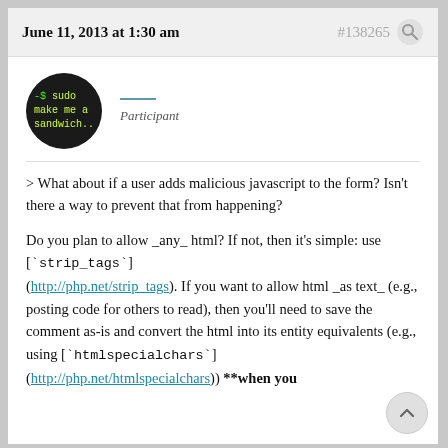June 11, 2013 at 1:30 am   #138265
[Figure (illustration): Black circular avatar showing green terminal text '-$ sudo make me a sandwich...']
Participant
> What about if a user adds malicious javascript to the form? Isn't there a way to prevent that from happening?
Do you plan to allow _any_ html? If not, then it's simple: use [`strip_tags`] (http://php.net/strip_tags). If you want to allow html _as text_ (e.g., posting code for others to read), then you'll need to save the comment as-is and convert the html into its entity equivalents (e.g., using [`htmlspecialchars`] (http://php.net/htmlspecialchars)) **when you
(http://php.net/htmlspecialchars)) **when you